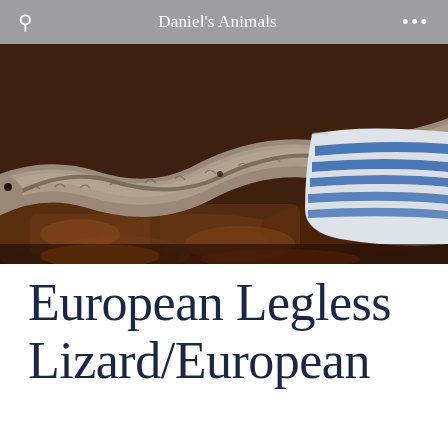Daniel's Animals
[Figure (photo): Close-up photograph of a European Legless Lizard on a substrate of brown bark/mulch, with a white and blue striped ceramic bowl visible in the background right.]
European Legless Lizard/European